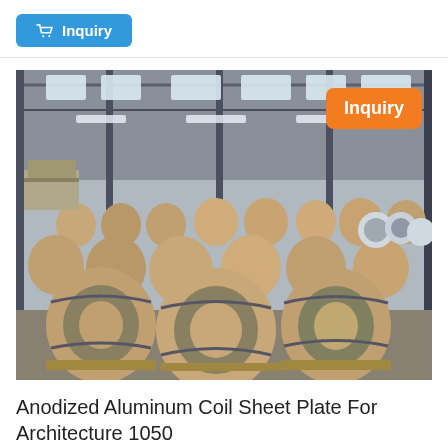[Figure (other): Blue inquiry button with shopping cart icon]
[Figure (photo): Warehouse interior filled with large rolls of aluminum coil wrapped in brown kraft paper, stored on wooden pallets. Industrial steel-frame building with skylights. An orange 'Inquiry' badge overlays the top-right corner of the image.]
Anodized Aluminum Coil Sheet Plate For Architecture 1050